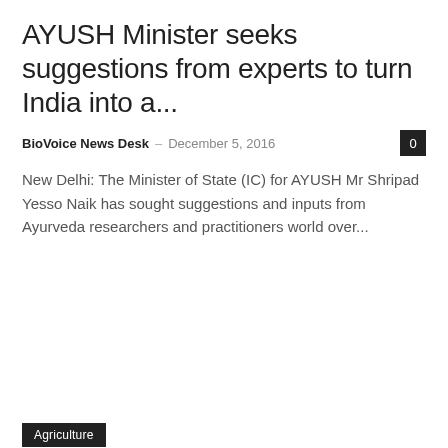AYUSH Minister seeks suggestions from experts to turn India into a...
BioVoice News Desk – December 5, 2016
New Delhi: The Minister of State (IC) for AYUSH Mr Shripad Yesso Naik has sought suggestions and inputs from Ayurveda researchers and practitioners world over...
Agriculture
Maharashtra tops NITI Aayog's first ever Agriculture Reform Index